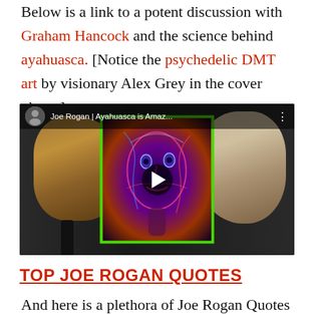Below is a link to a potent discussion with Graham Hancock and the science behind ayahuasca. [Notice the psychedelic DMT art by visionary Alex Grey in the cover photo.]
[Figure (screenshot): YouTube video thumbnail/embed showing Joe Rogan and Graham Hancock in a podcast studio, with a psychedelic DMT artwork (green-bordered) in the center. Video title reads: Joe Rogan | Ayahuasca is Amaz...]
TOP JOE ROGAN QUOTES
And here is a plethora of Joe Rogan Quotes—because holy shit, Joe Rogan, you sure are